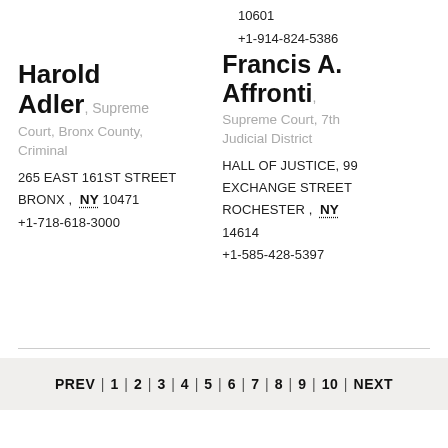10601
+1-914-824-5386
Harold Adler, Supreme Court, Bronx County, Criminal
265 EAST 161ST STREET
BRONX , NY 10471
+1-718-618-3000
Francis A. Affronti, Supreme Court, 7th Judicial District
HALL OF JUSTICE, 99 EXCHANGE STREET
ROCHESTER , NY 14614
+1-585-428-5397
PREV | 1 | 2 | 3 | 4 | 5 | 6 | 7 | 8 | 9 | 10 | NEXT